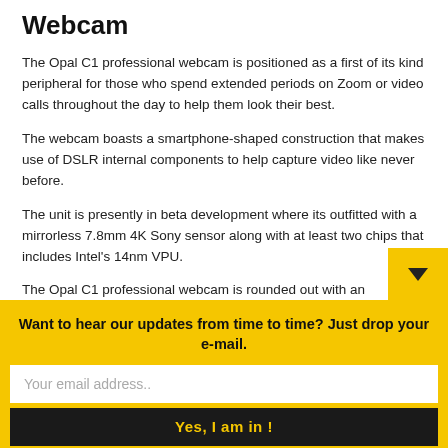Webcam
The Opal C1 professional webcam is positioned as a first of its kind peripheral for those who spend extended periods on Zoom or video calls throughout the day to help them look their best.
The webcam boasts a smartphone-shaped construction that makes use of DSLR internal components to help capture video like never before.
The unit is presently in beta development where its outfitted with a mirrorless 7.8mm 4K Sony sensor along with at least two chips that includes Intel's 14nm VPU.
The Opal C1 professional webcam is rounded out with an omnidirectional microphone and is minimally designed to make it a suitable addition to any desktop or laptop
Want to hear our updates from time to time? Just drop your e-mail.
Your email address..
Yes, I am in !